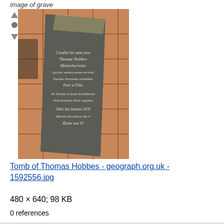image of grave
[Figure (photo): Photo of the grave/tomb slab of Thomas Hobbes on a church floor. The stone slab has Latin inscription reading: Condita hic sunt ossa Thomae Hobbes Malmesburiensis Qui per multos annos servivit Duobus Devoniae comitibus Patri et Filio Vir Probus et fama Eruditoonis Dom fonfque bene cognitus Obiit Ani Domini 1679 Mensis Decembris die 4 Aeduatis luae 91. The slab is surrounded by terracotta/red tile flooring.]
Tomb of Thomas Hobbes - geograph.org.uk - 1592556.jpg
480 × 640; 98 KB
0 references